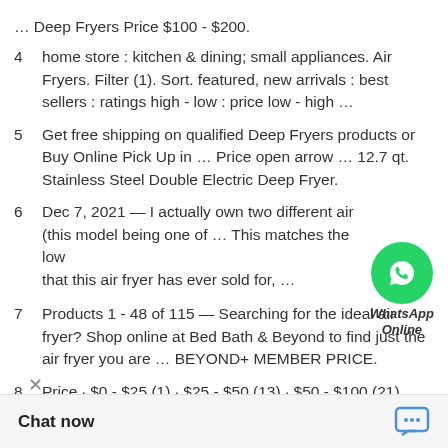… Deep Fryers Price $100 - $200.
4   home store : kitchen & dining; small appliances. Air Fryers. Filter (1). Sort. featured, new arrivals : best sellers : ratings high - low : price low - high …
5   Get free shipping on qualified Deep Fryers products or Buy Online Pick Up in … Price open arrow … 12.7 qt. Stainless Steel Double Electric Deep Fryer.
6   Dec 7, 2021 — I actually own two different air (this model being one of … This matches the low… that this air fryer has ever sold for, …
[Figure (logo): WhatsApp Online green circle logo with phone icon and italic bold text 'WhatsApp Online']
7   Products 1 - 48 of 115 — Searching for the ideal air fryer? Shop online at Bed Bath & Beyond to find just the air fryer you are … BEYOND+ MEMBER PRICE.
8   Price · $0 - $25 (1) · $25 - $50 (13) · $50 - $100 (21) … (7) · $400 - $600 (1).
up to 60% on top-
[Figure (other): Chat now button bar at bottom with chat bubble icon]